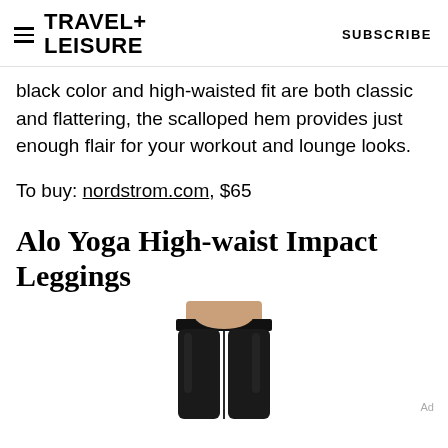TRAVEL+ LEISURE  SUBSCRIBE
black color and high-waisted fit are both classic and flattering, the scalloped hem provides just enough flair for your workout and lounge looks.
To buy: nordstrom.com, $65
Alo Yoga High-waist Impact Leggings
[Figure (photo): Photo of a person wearing black high-waist leggings, showing the torso and upper legs area. The leggings are form-fitting and dark black in color.]